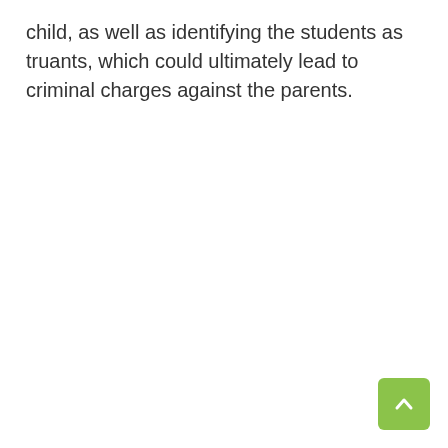child, as well as identifying the students as truants, which could ultimately lead to criminal charges against the parents.